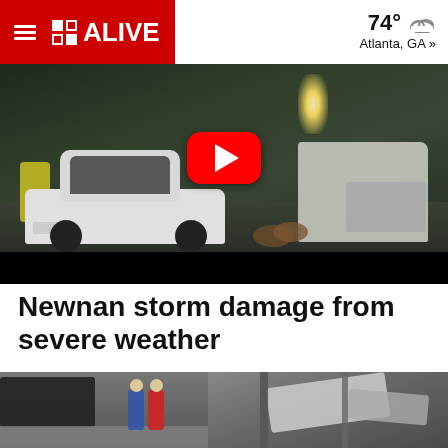11 ALIVE — 74° Atlanta, GA »
[Figure (screenshot): Video thumbnail showing storm damage scene: a white Lexus sedan in a dark outdoor setting with a bright light in the background, workers in yellow rain gear, and a large truck. A red YouTube play button is overlaid in the center. A black bar appears at the bottom of the video player.]
Newnan storm damage from severe weather
[Figure (photo): Aerial or elevated view of storm damage: two people standing (one in blue jacket, one in red jacket) near a heavily damaged structure with debris and collapsed roofing. A dark SUV is visible on the left side.]